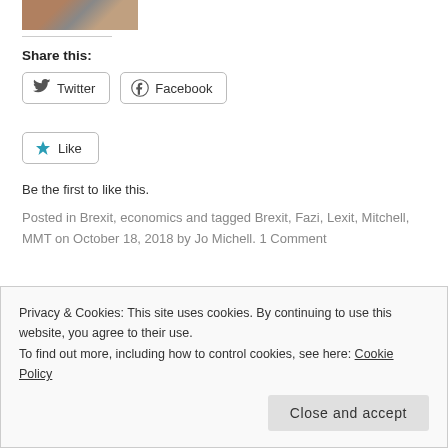[Figure (photo): Partial photo strip of people at top of page]
Share this:
[Figure (other): Twitter share button]
[Figure (other): Facebook share button]
[Figure (other): Like button with star icon]
Be the first to like this.
Posted in Brexit, economics and tagged Brexit, Fazi, Lexit, Mitchell, MMT on October 18, 2018 by Jo Michell. 1 Comment
← The World Bank's new Maximizing Finance for Development
Privacy & Cookies: This site uses cookies. By continuing to use this website, you agree to their use.
To find out more, including how to control cookies, see here: Cookie Policy